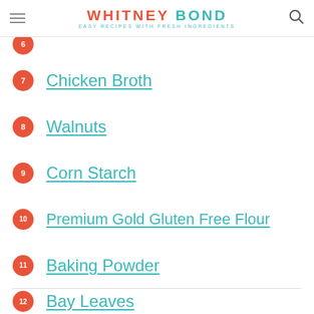WHITNEY BOND — EASY RECIPES WITH FRESH INGREDIENTS
6 (partial, cut off at top)
7 Chicken Broth
8 Walnuts
9 Corn Starch
10 Premium Gold Gluten Free Flour
11 Baking Powder
12 Bay Leaves
13 Cinnamon (partial, faded at bottom)